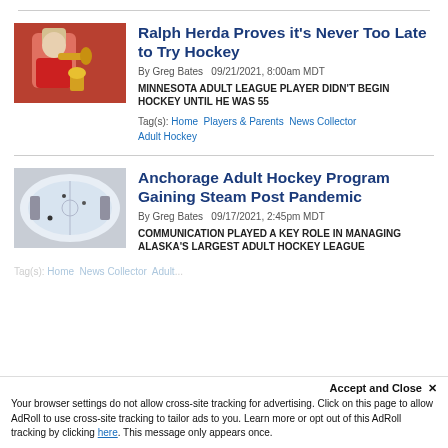[Figure (photo): Man in red jacket playing trumpet, holding a trophy]
Ralph Herda Proves it's Never Too Late to Try Hockey
By Greg Bates  09/21/2021, 8:00am MDT
MINNESOTA ADULT LEAGUE PLAYER DIDN'T BEGIN HOCKEY UNTIL HE WAS 55
Tag(s): Home  Players & Parents  News Collector  Adult Hockey
[Figure (photo): Aerial view of an ice hockey rink with skaters]
Anchorage Adult Hockey Program Gaining Steam Post Pandemic
By Greg Bates  09/17/2021, 2:45pm MDT
COMMUNICATION PLAYED A KEY ROLE IN MANAGING ALASKA'S LARGEST ADULT HOCKEY LEAGUE
Tag(s): Home  News Collector  Adult...
Accept and Close ✕
Your browser settings do not allow cross-site tracking for advertising. Click on this page to allow AdRoll to use cross-site tracking to tailor ads to you. Learn more or opt out of this AdRoll tracking by clicking here. This message only appears once.